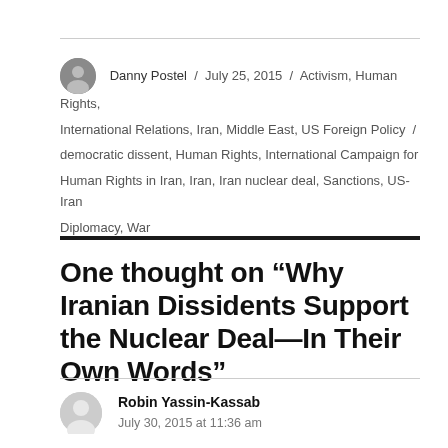Danny Postel / July 25, 2015 / Activism, Human Rights, International Relations, Iran, Middle East, US Foreign Policy / democratic dissent, Human Rights, International Campaign for Human Rights in Iran, Iran, Iran nuclear deal, Sanctions, US-Iran Diplomacy, War
One thought on “Why Iranian Dissidents Support the Nuclear Deal—In Their Own Words”
Robin Yassin-Kassab
July 30, 2015 at 11:36 am